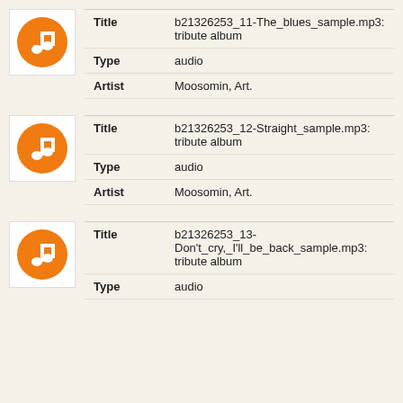Title: b21326253_11-The_blues_sample.mp3: tribute album | Type: audio | Artist: Moosomin, Art.
Title: b21326253_12-Straight_sample.mp3: tribute album | Type: audio | Artist: Moosomin, Art.
Title: b21326253_13-Don't_cry,_I'll_be_back_sample.mp3: tribute album | Type: audio